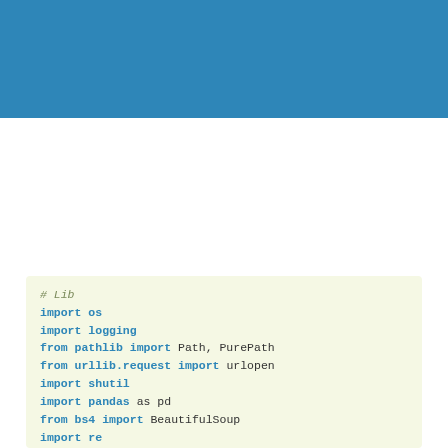[Figure (other): Blue header bar at top of page]
# Lib
import os
import logging
from pathlib import Path, PurePath
from urllib.request import urlopen
import shutil
import pandas as pd
from bs4 import BeautifulSoup
import re
# App